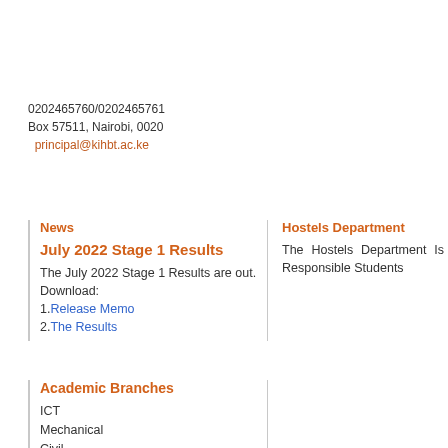0202465760/0202465761
Box 57511, Nairobi, 0020
principal@kihbt.ac.ke
News
July 2022 Stage 1 Results
The July 2022 Stage 1 Results are out. Download:
1.Release Memo
2.The Results
Hostels Department
The Hostels Department Is Responsible Students
Academic Branches
ICT
Mechanical
Civil